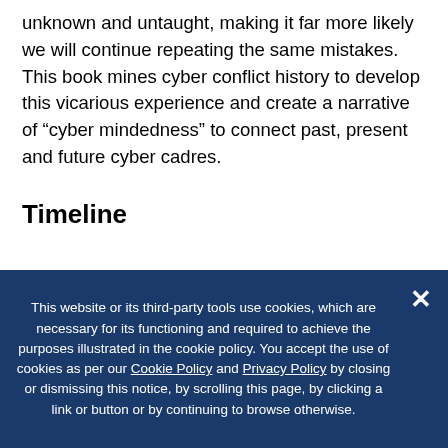unknown and untaught, making it far more likely we will continue repeating the same mistakes. This book mines cyber conflict history to develop this vicarious experience and create a narrative of “cyber mindedness” to connect past, present and future cyber cadres.
Timeline
This website or its third-party tools use cookies, which are necessary for its functioning and required to achieve the purposes illustrated in the cookie policy. You accept the use of cookies as per our Cookie Policy and Privacy Policy by closing or dismissing this notice, by scrolling this page, by clicking a link or button or by continuing to browse otherwise.